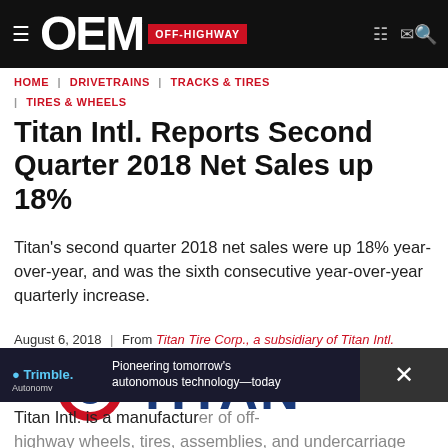OEM OFF-HIGHWAY
HOME | DRIVETRAINS | TRACKS & TIRES | TIRES & WHEELS
Titan Intl. Reports Second Quarter 2018 Net Sales up 18%
Titan's second quarter 2018 net sales were up 18% year-over-year, and was the sixth consecutive year-over-year quarterly increase.
August 6, 2018 | From Titan Tire Corp., a subsidiary of Titan Intl.
[Figure (logo): Titan brand logo with circular emblem and bold TITAN text in blue and red]
[Figure (screenshot): Trimble Autonomy advertisement banner: Pioneering tomorrow's autonomous technology-today]
Titan Intl. is a manufacturer of off-highway wheels, tires, assemblies, and undercarriage